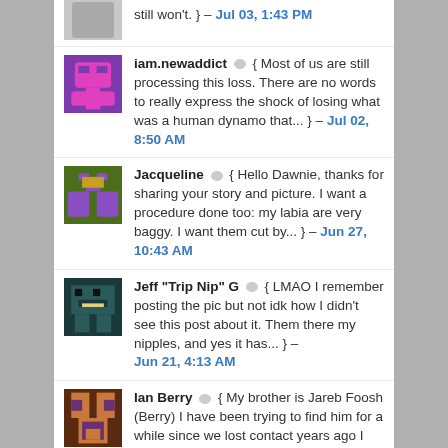still won't. } – Jul 03, 1:43 PM
iam.newaddict 💬 { Most of us are still processing this loss. There are no words to really express the shock of losing what was a human dynamo that... } – Jul 02, 8:50 AM
Jacqueline 💬 { Hello Dawnie, thanks for sharing your story and picture. I want a procedure done too: my labia are very baggy. I want them cut by... } – Jun 27, 10:43 AM
Jeff "Trip Nip" G 💬 { LMAO I remember posting the pic but not idk how I didn't see this post about it. Them there my nipples, and yes it has... } – Jun 21, 4:13 AM
Ian Berry 💬 { My brother is Jareb Foosh (Berry) I have been trying to find him for a while since we lost contact years ago I really need... } – Jun 12, 10:25 PM
Roo 💬 { Yep. } – May 21, 1:04 PM